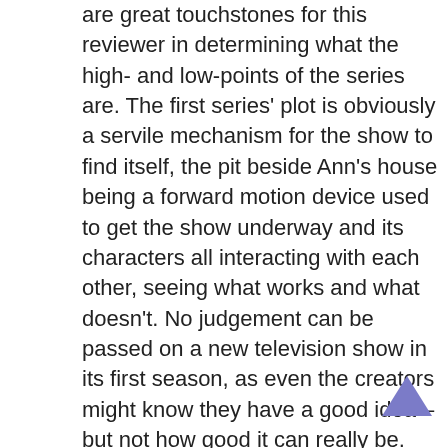are great touchstones for this reviewer in determining what the high- and low-points of the series are. The first series' plot is obviously a servile mechanism for the show to find itself, the pit beside Ann's house being a forward motion device used to get the show underway and its characters all interacting with each other, seeing what works and what doesn't. No judgement can be passed on a new television show in its first season, as even the creators might know they have a good idea – but not how good it can really be.
The second series sees further goings-on with the pit, and a governmental shutdown which introduces the sterling Adam Scott as state auditor Ben Wyatt, who teams up with Rob Lowe to get Pawnee back on its feet financially. The